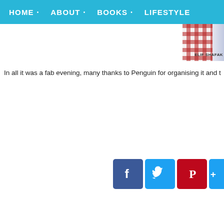HOME · ABOUT · BOOKS · LIFESTYLE
[Figure (photo): Partial book cover image showing a red and white checkered pattern and the author name ELIF SHAFAK on a blue/white spine]
In all it was a fab evening, many thanks to Penguin for organising it and t
[Figure (infographic): Social media share buttons: Facebook (blue), Twitter (light blue), Pinterest (dark red), and one more partially visible (blue)]
LABELS: CATEGORY: BOOKS, ENTR
No comments:
Post a Comment
To leave a comment, click the button below to sign in with G
SIGN IN WITH GOOGLE